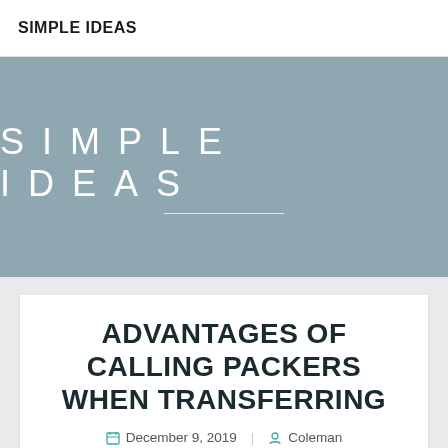SIMPLE IDEAS
[Figure (illustration): Hero banner with muted blue-gray background and 'SIMPLE IDEAS' text in wide-spaced white letters with a thin white underline]
ADVANTAGES OF CALLING PACKERS WHEN TRANSFERRING
December 9, 2019  Coleman